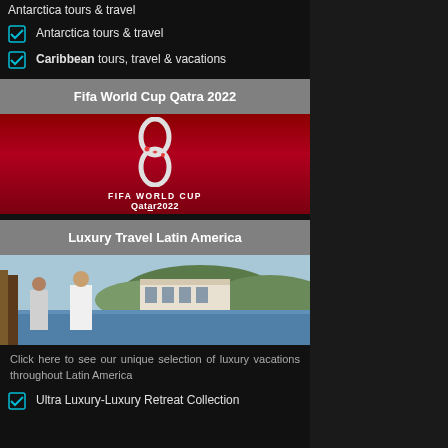Antarctica tours & travel
Caribbean tours, travel & vacations
Fifa World Cup Qatra 2022
[Figure (illustration): FIFA World Cup Qatar 2022 logo on dark red background — stylized infinity/figure-8 ribbon shape with text FIFA WORLD CUP Qatar2022]
Luxury Travel Latin America
[Figure (photo): Two people in white clothing on a boat, with a large waterfront mansion and hills in the background]
Click here to see our unique selection of luxury vacations throughout Latin America
Ultra Luxury-Luxury Retreat Collection